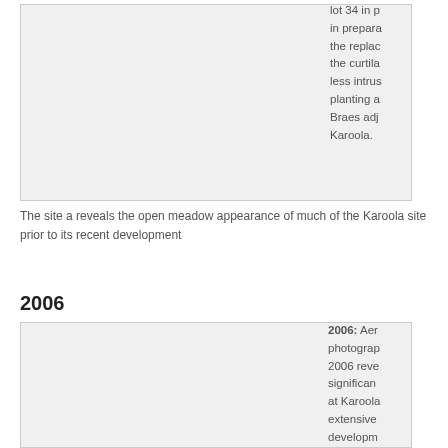[Figure (photo): Aerial or ground-level photograph showing open meadow area of the Karoola site, light gray/blank placeholder]
lot 34 in p... in prepara... the replac... the curtila... less intrus... planting a... Braes adj... Karoola.
The site a... reveals the open meadow appearance of much of the Karoola site prior to its recent development
2006
[Figure (photo): Aerial photograph from 2006 revealing significant changes at Karoola with extensive development]
2006: Aer... photograp... 2006 reve... significan... at Karoola... extensivel... developm...